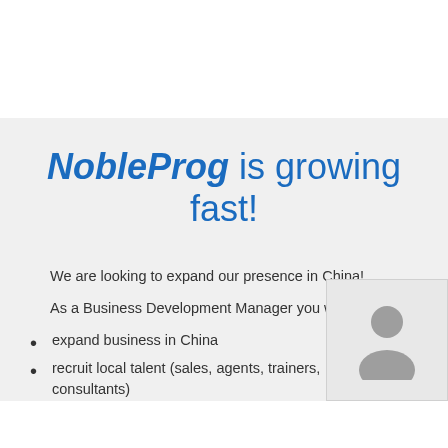NobleProg is growing fast!
We are looking to expand our presence in China!
As a Business Development Manager you w
expand business in China
recruit local talent (sales, agents, trainers, consultants)
[Figure (photo): Profile placeholder image of a person silhouette]